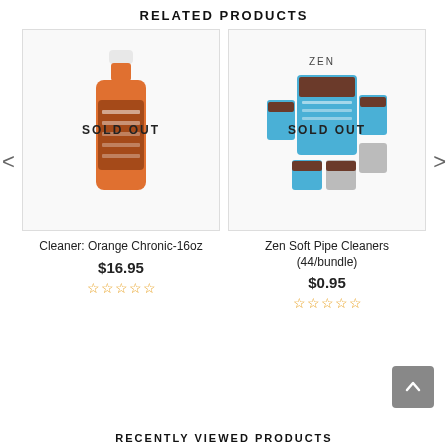RELATED PRODUCTS
[Figure (photo): Orange Chronic cleaner 16oz bottle, shown with a 'SOLD OUT' overlay on a white background product card]
Cleaner: Orange Chronic-16oz
$16.95
★★★★★ (empty stars)
[Figure (photo): Zen Soft Pipe Cleaners bundle (44/bundle), blue and white packaging shown with a 'SOLD OUT' overlay on a white background product card]
Zen Soft Pipe Cleaners (44/bundle)
$0.95
★★★★★ (empty stars)
RECENTLY VIEWED PRODUCTS